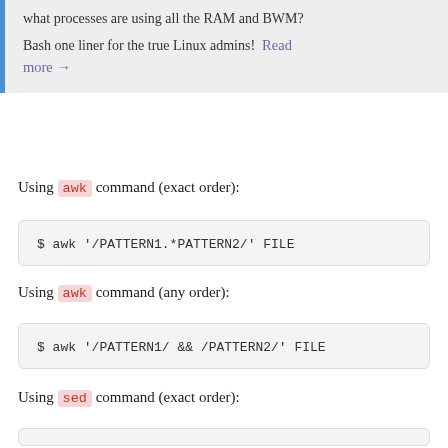what processes are using all the RAM and BWM? Bash one liner for the true Linux admins! Read more →
Using awk command (exact order):
$ awk '/PATTERN1.*PATTERN2/' FILE
Using awk command (any order):
$ awk '/PATTERN1/ && /PATTERN2/' FILE
Using sed command (exact order):